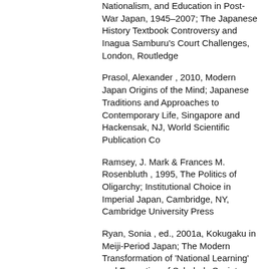Nationalism, and Education in Post-War Japan, 1945–2007; The Japanese History Textbook Controversy and Inagua Samburu's Court Challenges, London, Routledge
Prasol, Alexander , 2010, Modern Japan Origins of the Mind; Japanese Traditions and Approaches to Contemporary Life, Singapore and Hackensak, NJ, World Scientific Publication Co
Ramsey, J. Mark & Frances M. Rosenbluth , 1995, The Politics of Oligarchy; Institutional Choice in Imperial Japan, Cambridge, NY, Cambridge University Press
Ryan, Sonia , ed., 2001a, Kokugaku in Meiji-Period Japan; The Modern Transformation of 'National Learning' and Formation of Scholarly Society, Leide, Brill
Ryan, Sonia , ed., 2001b, Koreans in Japan: Critical Voices from the Margin, New York,